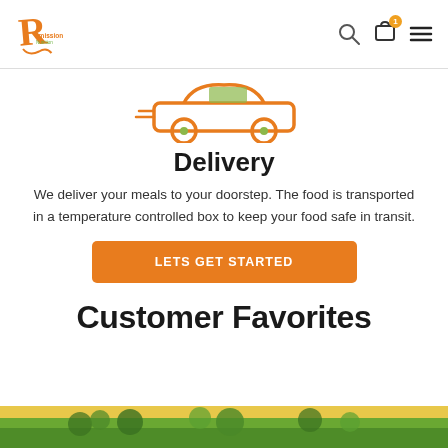Remission Nutrition logo with search, cart, and menu icons
[Figure (illustration): Orange line-art delivery car icon with green windshield accent and orange wheels]
Delivery
We deliver your meals to your doorstep. The food is transported in a temperature controlled box to keep your food safe in transit.
LETS GET STARTED
Customer Favorites
[Figure (photo): Partial bottom strip showing a food photo with greens and vegetables]